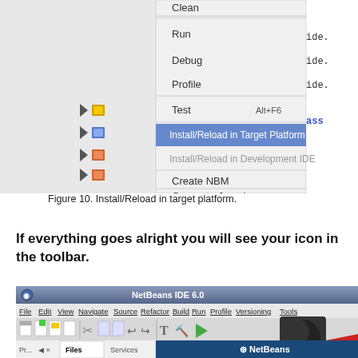[Figure (screenshot): NetBeans IDE context menu showing options: Clean, Run, Debug, Profile, Test (Alt+F6), Install/Reload in Target Platform (highlighted in blue), Install/Reload in Development IDE (greyed out), Create NBM, Generate Javadoc. Side panel shows project tree icons and code editor with 'per', 'leme' text fragments visible.]
Figure 10. Install/Reload in target platform.
If everything goes alright you will see your icon in the toolbar.
[Figure (screenshot): NetBeans IDE 6.0 window showing menu bar with File, Edit, View, Navigate, Source, Refactor, Build, Run, Profile, Versioning, Tools menus, toolbar with icons, and panels: Pr... (projects), Files, Services, Start Page tab. Bottom right shows NetBeans logo and a custom icon (crescent moon) overlaid in the toolbar area.]